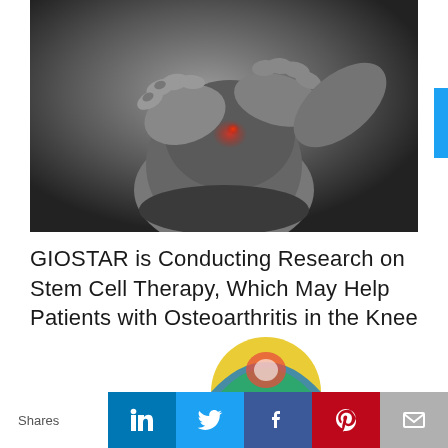[Figure (photo): Black and white close-up photo of hands gripping a painful knee joint, with a red highlight at the knee indicating pain or inflammation.]
GIOSTAR is Conducting Research on Stem Cell Therapy, Which May Help Patients with Osteoarthritis in the Knee
[Figure (logo): Partial colorful circular logo visible at the bottom center of the page.]
Shares
[Figure (infographic): Social sharing bar with LinkedIn (blue), Twitter (light blue), Facebook (dark blue), Pinterest (red), and Email (gray) buttons.]